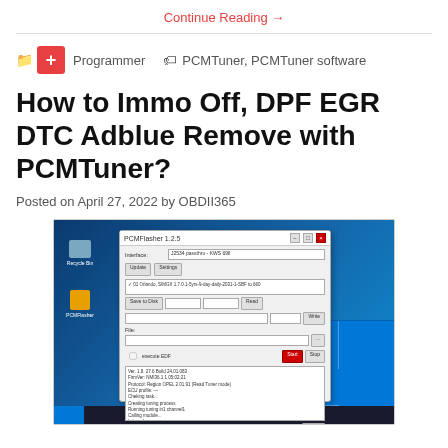Continue Reading →
Programmer   PCMTuner, PCMTuner software
How to Immo Off, DPF EGR DTC Adblue Remove with PCMTuner?
Posted on April 27, 2022 by OBDII365
[Figure (screenshot): Screenshot of PCMTuner software running on a Windows 10 desktop, showing a dialog window with tuning options and a log output area.]